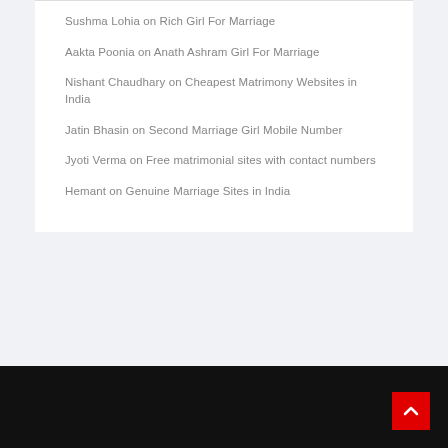Sushma Lohia on Rich Girl For Marriage
Aakta Poonia on Anath Ashram Girl For Marriage
Nishant Chaudhary on Cheapest Matrimony Websites in India
Jatin Bhasin on Second Marriage Girl Mobile Number
Jyoti Verma on Free matrimonial sites with contact numbers
Hemant on Genuine Marriage Sites in India